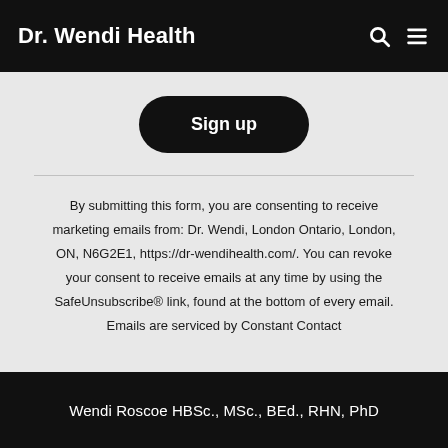Dr. Wendi Health
Sign up
By submitting this form, you are consenting to receive marketing emails from: Dr. Wendi, London Ontario, London, ON, N6G2E1, https://dr-wendihealth.com/. You can revoke your consent to receive emails at any time by using the SafeUnsubscribe® link, found at the bottom of every email. Emails are serviced by Constant Contact
Wendi Roscoe HBSc., MSc., BEd., RHN, PhD